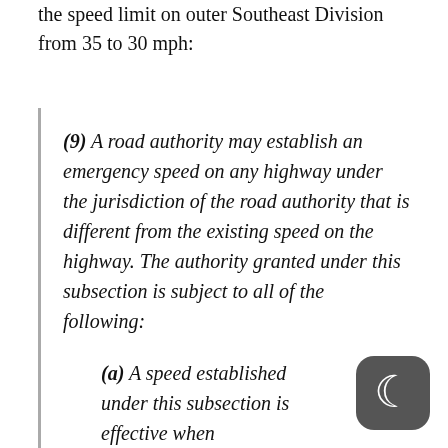the speed limit on outer Southeast Division from 35 to 30 mph:
(9) A road authority may establish an emergency speed on any highway under the jurisdiction of the road authority that is different from the existing speed on the highway. The authority granted under this subsection is subject to all of the following:
(a) A speed established under this subsection is effective when